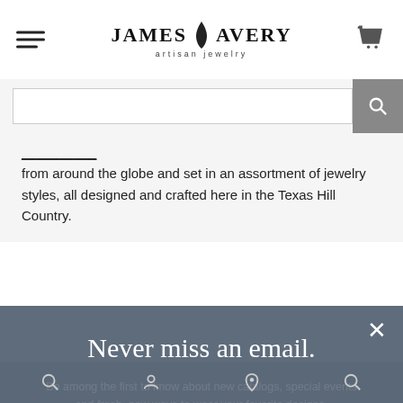JAMES AVERY artisan jewelry
from around the globe and set in an assortment of jewelry styles, all designed and crafted here in the Texas Hill Country.
Never miss an email.
Be among the first to know about new catalogs, special events and fresh, new ways to wear your favorite designs.
Email Address
Sign Up